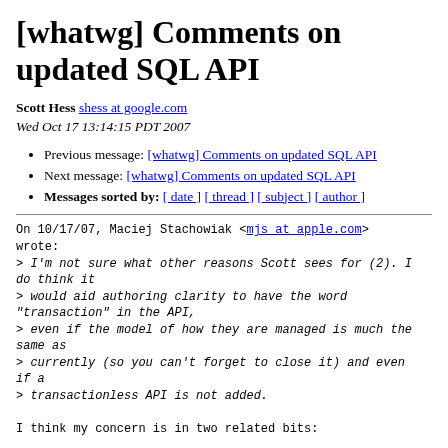[whatwg] Comments on updated SQL API
Scott Hess shess at google.com
Wed Oct 17 13:14:15 PDT 2007
Previous message: [whatwg] Comments on updated SQL API
Next message: [whatwg] Comments on updated SQL API
Messages sorted by: [ date ] [ thread ] [ subject ] [ author ]
On 10/17/07, Maciej Stachowiak <mjs at apple.com>
wrote:
> I'm not sure what other reasons Scott sees for (2). I
do think it
> would aid authoring clarity to have the word
"transaction" in the API,
> even if the model of how they are managed is much the
same as
> currently (so you can't forget to close it) and even
if a
> transactionless API is not added.

I think my concern is in two related bits: